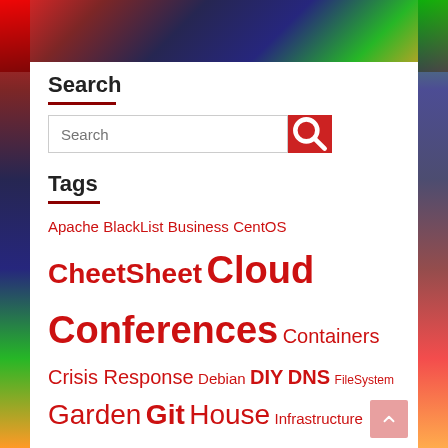Search
[Figure (screenshot): Search input box with red search button]
Tags
Apache BlackList Business CentOS CheetSheet Cloud Conferences Containers Crisis Response Debian DIY DNS FileSystem Garden Git House Infrastructure JSON Letsencrypt Linux LVM LXC Magento Mail MailAdmin MongoDB msec MySQL NodeJS NoSQL OpenVZ OSX Perl Phalcon PHP Postfix proftpd Proxmox Research Security ShellScripting SSL Ubuntu VirtualBox Virtualization